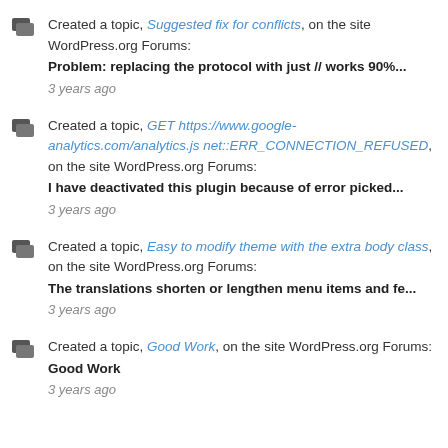Created a topic, Suggested fix for conflicts, on the site WordPress.org Forums: Problem: replacing the protocol with just // works 90%... 3 years ago
Created a topic, GET https://www.google-analytics.com/analytics.js net::ERR_CONNECTION_REFUSED, on the site WordPress.org Forums: I have deactivated this plugin because of error picked... 3 years ago
Created a topic, Easy to modify theme with the extra body class, on the site WordPress.org Forums: The translations shorten or lengthen menu items and fe... 3 years ago
Created a topic, Good Work, on the site WordPress.org Forums: Good Work 3 years ago